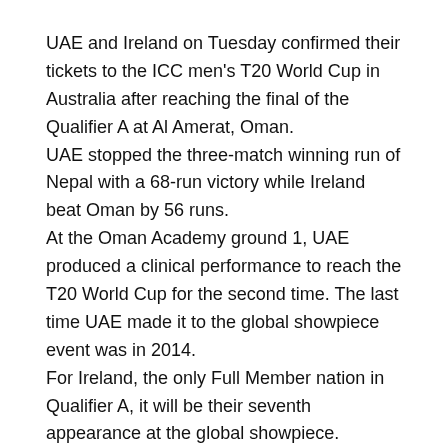UAE and Ireland on Tuesday confirmed their tickets to the ICC men's T20 World Cup in Australia after reaching the final of the Qualifier A at Al Amerat, Oman. UAE stopped the three-match winning run of Nepal with a 68-run victory while Ireland beat Oman by 56 runs. At the Oman Academy ground 1, UAE produced a clinical performance to reach the T20 World Cup for the second time. The last time UAE made it to the global showpiece event was in 2014. For Ireland, the only Full Member nation in Qualifier A, it will be their seventh appearance at the global showpiece.
Australia calling
Ireland and UAE have booked their spot in the ICC Men's #T20WorldCup 2022
https://t.co/kzdQaci3hD pic.twitter.com/TzdiSctyn3…